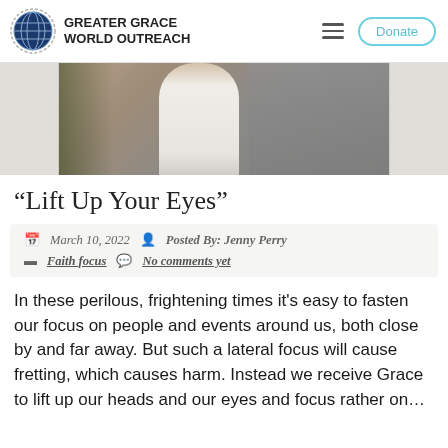GREATER GRACE WORLD OUTREACH
[Figure (photo): Partial view of a person in a white shirt against a stone/concrete background, with a palm tree shadow on the left side.]
“Lift Up Your Eyes”
March 10, 2022   Posted By: Jenny Perry   Faith focus   No comments yet
In these perilous, frightening times it's easy to fasten our focus on people and events around us, both close by and far away. But such a lateral focus will cause fretting, which causes harm. Instead we receive Grace to lift up our heads and our eyes and focus rather on…